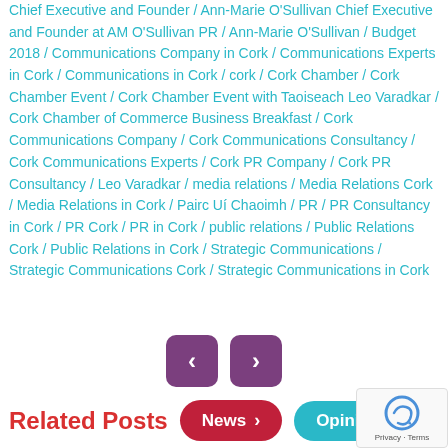Chief Executive and Founder / Ann-Marie O'Sullivan Chief Executive and Founder at AM O'Sullivan PR / Ann-Marie O'Sullivan / Budget 2018 / Communications Company in Cork / Communications Experts in Cork / Communications in Cork / cork / Cork Chamber / Cork Chamber Event / Cork Chamber Event with Taoiseach Leo Varadkar / Cork Chamber of Commerce Business Breakfast / Cork Communications Company / Cork Communications Consultancy / Cork Communications Experts / Cork PR Company / Cork PR Consultancy / Leo Varadkar / media relations / Media Relations Cork / Media Relations in Cork / Pairc Uí Chaoimh / PR / PR Consultancy in Cork / PR Cork / PR in Cork / public relations / Public Relations Cork / Public Relations in Cork / Strategic Communications / Strategic Communications Cork / Strategic Communications in Cork
[Figure (other): Navigation previous and next arrow buttons (purple rounded square shapes with < and > chevrons)]
Related Posts  News >  Opinion